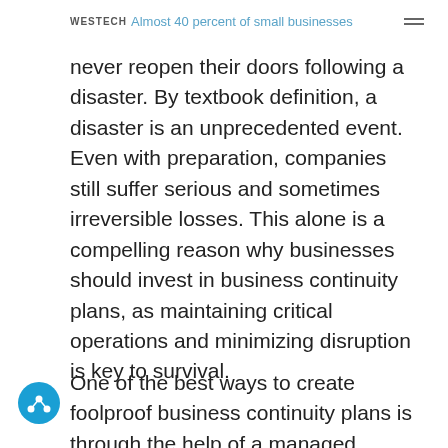WESTECH Almost 40 percent of small businesses
Almost 40 percent of small businesses never reopen their doors following a disaster. By textbook definition, a disaster is an unprecedented event. Even with preparation, companies still suffer serious and sometimes irreversible losses. This alone is a compelling reason why businesses should invest in business continuity plans, as maintaining critical operations and minimizing disruption is key to survival.
One of the best ways to create foolproof business continuity plans is through the help of a managed service provider (MSP),